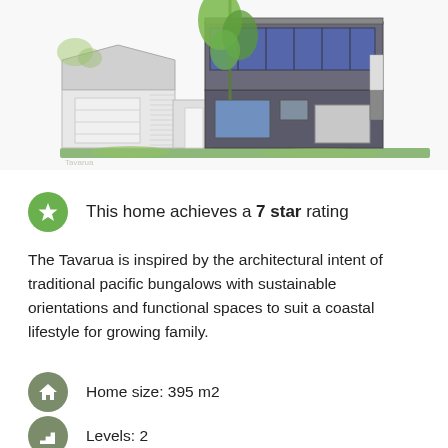[Figure (illustration): Architectural rendering of a two-storey house called The Tavarua, showing a light-coloured single garage on the left and a two-storey dark-clad main structure on the right, with green trees and landscaping.]
This home achieves a 7 star rating
The Tavarua is inspired by the architectural intent of traditional pacific bungalows with sustainable orientations and functional spaces to suit a coastal lifestyle for growing family.
Home size: 395 m2
Levels: 2